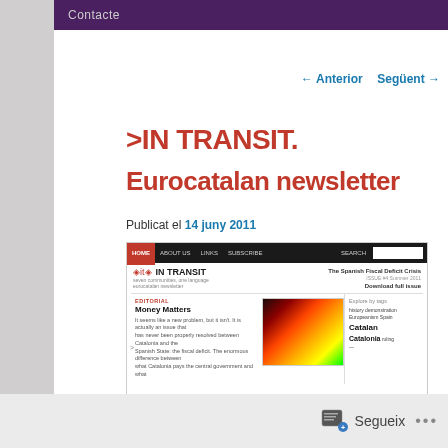Contacte
← Anterior   Següent →
>IN TRANSIT. Eurocatalan newsletter
Publicat el 14 juny 2011
[Figure (screenshot): Screenshot of the In Transit Eurocatalan newsletter website, showing navigation bar, logo, issue header 'The Spanish Fiscal Deficit Crisis', editorial section 'Money Matters' with heatmap image of Spain, and tag cloud sidebar with tags: history, demonstration, Europeanism, Spain, Catalan, Catalonia, ruling]
Money Matters
Segueix ...